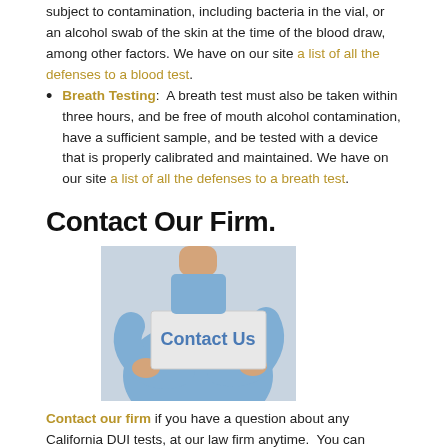subject to contamination, including bacteria in the vial, or an alcohol swab of the skin at the time of the blood draw, among other factors. We have on our site a list of all the defenses to a blood test.
Breath Testing: A breath test must also be taken within three hours, and be free of mouth alcohol contamination, have a sufficient sample, and be tested with a device that is properly calibrated and maintained. We have on our site a list of all the defenses to a breath test.
Contact Our Firm.
[Figure (photo): Person in blue shirt holding a white sign that reads 'Contact Us' in blue text]
Contact our firm if you have a question about any California DUI tests, at our law firm anytime. You can contact us at (877) 989-7789, or use the contact the firm form.